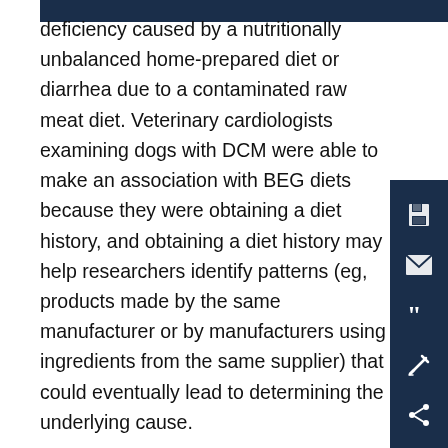deficiency caused by a nutritionally unbalanced home-prepared diet or diarrhea due to a contaminated raw meat diet. Veterinary cardiologists examining dogs with DCM were able to make an association with BEG diets because they were obtaining a diet history, and obtaining a diet history may help researchers identify patterns (eg, products made by the same manufacturer or by manufacturers using ingredients from the same supplier) that could eventually lead to determining the underlying cause.
A diet history can also identify an individual patient's food preferences, such as whether canned or dry food is preferred or whether specific flavors are preferred, that can be helpful